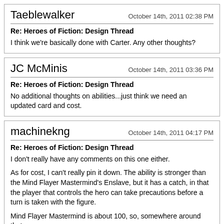Taeblewalker | October 14th, 2011 02:38 PM
Re: Heroes of Fiction: Design Thread
I think we're basically done with Carter. Any other thoughts?
JC McMinis | October 14th, 2011 03:36 PM
Re: Heroes of Fiction: Design Thread
No additional thoughts on abilities...just think we need an updated card and cost.
machinekng | October 14th, 2011 04:17 PM
Re: Heroes of Fiction: Design Thread
I don't really have any comments on this one either.
As for cost, I can't really pin it down. The ability is stronger than the Mind Flayer Mastermind's Enslave, but it has a catch, in that the player that controls the hero can take precautions before a turn is taken with the figure.
Mind Flayer Mastermind is about 100, so, somewhere around that